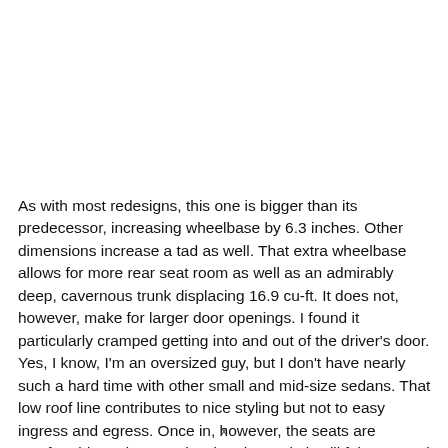As with most redesigns, this one is bigger than its predecessor, increasing wheelbase by 6.3 inches. Other dimensions increase a tad as well. That extra wheelbase allows for more rear seat room as well as an admirably deep, cavernous trunk displacing 16.9 cu-ft. It does not, however, make for larger door openings. I found it particularly cramped getting into and out of the driver's door. Yes, I know, I'm an oversized guy, but I don't have nearly such a hard time with other small and mid-size sedans. That low roof line contributes to nice styling but not to easy ingress and egress. Once in, however, the seats are comfortable and supportive, but the cockpit still felt cramped to me.
x